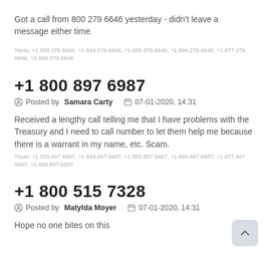Got a call from 800 279 6646 yesterday - didn't leave a message either time.
*Note: +1 833 279 6646, +1 844 279 6646, +1 855 279 6646, +1 866 279 6646, +1 877 279 6646, +1 888 279 6646
+1 800 897 6987
Posted by Samara Carty  07-01-2020, 14:31
Received a lengthy call telling me that I have problems with the Treasury and I need to call number to let them help me because there is a warrant in my name, etc. Scam.
*Note: +1 833 897 6987, +1 844 897 6987, +1 855 897 6987, +1 866 897 6987, +1 877 897 6987, +1 888 897 6987
+1 800 515 7328
Posted by Matylda Moyer  07-01-2020, 14:31
Hope no one bites on this